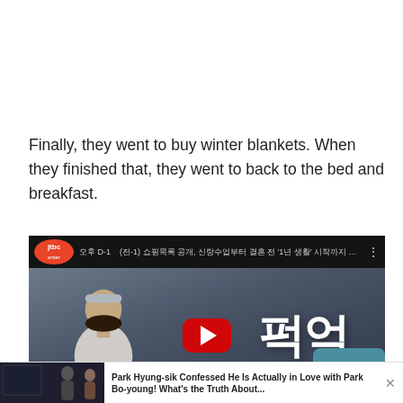Finally, they went to buy winter blankets. When they finished that, they went to back to the bed and breakfast.
[Figure (screenshot): Embedded YouTube video thumbnail from JTBC enter channel showing a Korean drama scene with a woman wearing a headband, with Korean text overlay and a YouTube play button. Below the video is a notification/ad bar showing a couple silhouette image and text about Park Hyung-sik.]
Park Hyung-sik Confessed He Is Actually in Love with Park Bo-young! What's the Truth About...